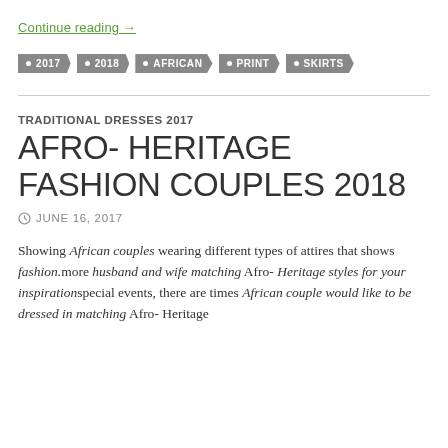Continue reading →
2017
2018
AFRICAN
PRINT
SKIRTS
TRADITIONAL DRESSES 2017
AFRO- HERITAGE FASHION COUPLES 2018
JUNE 16, 2017
Showing African couples wearing different types of attires that shows fashion.more husband and wife matching  Afro- Heritage styles for your inspirationspecial events, there are times African couple would like to be dressed in matching   Afro- Heritage